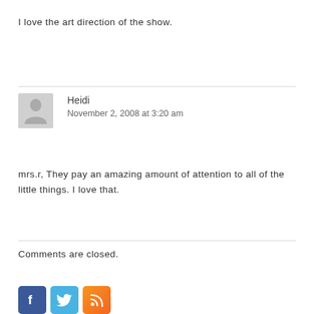I love the art direction of the show.
Heidi
November 2, 2008 at 3:20 am
mrs.r, They pay an amazing amount of attention to all of the little things. I love that.
Comments are closed.
[Figure (illustration): Social media icons: Facebook (blue), Twitter (light blue bird), RSS (orange)]